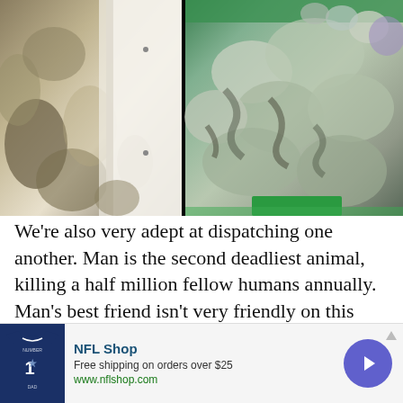[Figure (photo): Two side-by-side photos: left shows camouflage fabric/clothing against a white cabinet with screw holes; right shows snakes wrapped in plastic bags on a green-lined surface.]
We're also very adept at dispatching one another. Man is the second deadliest animal, killing a half million fellow humans annually. Man's best friend isn't very friendly on this count, either, by the way. Dogs
[Figure (infographic): NFL Shop advertisement banner. Shows a Dallas Cowboys #1 DAD jersey shirt on left, text 'NFL Shop / Free shipping on orders over $25 / www.nflshop.com' in center, and a purple circle with right arrow on right.]